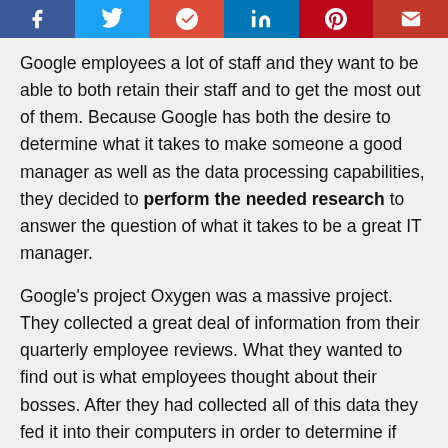[Figure (other): Social media sharing bar with icons for Facebook, Twitter, Google+, LinkedIn, Pinterest, and Email]
Google employees a lot of staff and they want to be able to both retain their staff and to get the most out of them. Because Google has both the desire to determine what it takes to make someone a good manager as well as the data processing capabilities, they decided to perform the needed research to answer the question of what it takes to be a great IT manager.
Google's project Oxygen was a massive project. They collected a great deal of information from their quarterly employee reviews. What they wanted to find out is what employees thought about their bosses. After they had collected all of this data they fed it into their computers in order to determine if they could identify what made their best managers good managers. The answers turned out to be exactly what you would expect. The best managers make time for their team members and they make